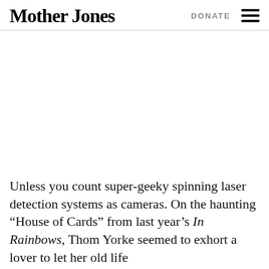Mother Jones | DONATE
[Figure (photo): Large image placeholder area (white/blank) below the navigation header]
Unless you count super-geeky spinning laser detection systems as cameras. On the haunting “House of Cards” from last year’s In Rainbows, Thom Yorke seemed to exhort a lover to let her old life dissolve and “get swept under” with him as she is